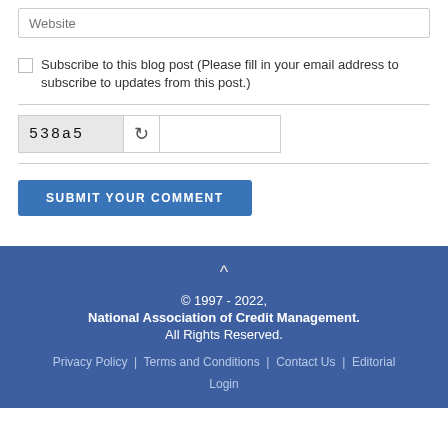[Figure (screenshot): Website input field with placeholder text 'Website']
Subscribe to this blog post (Please fill in your email address to subscribe to updates from this post.)
[Figure (screenshot): CAPTCHA with code '538a5', refresh icon, and text input box]
[Figure (screenshot): SUBMIT YOUR COMMENT button in blue]
© 1997 - 2022, National Association of Credit Management. All Rights Reserved. Privacy Policy | Terms and Conditions | Contact Us | Editorial Login